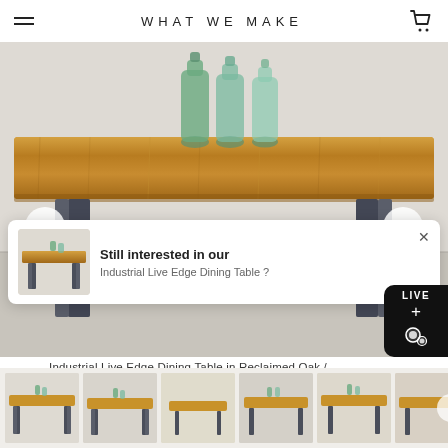WHAT WE MAKE
[Figure (photo): Industrial dining table with reclaimed oak top and blackened metal U-shaped legs, with three green glass bottles on top. Navigation arrows on left and right sides.]
Still interested in our Industrial Live Edge Dining Table ?
Industrial Live Edge Dining Table in Reclaimed Oak / Blackened Metal 'U-Shaped' Legs
[Figure (photo): Thumbnail strip showing 6 product photos of the Industrial Live Edge Dining Table from various angles]